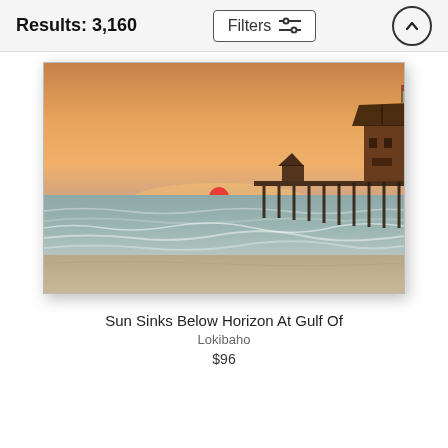Results: 3,160
[Figure (photo): Sunset photo showing the sun sinking below the horizon over the Gulf of Mexico, with a wooden pier and thatched-roof structure silhouetted against an orange sky, and ocean waves on a sandy beach in the foreground.]
Sun Sinks Below Horizon At Gulf Of
Lokibaho
$96